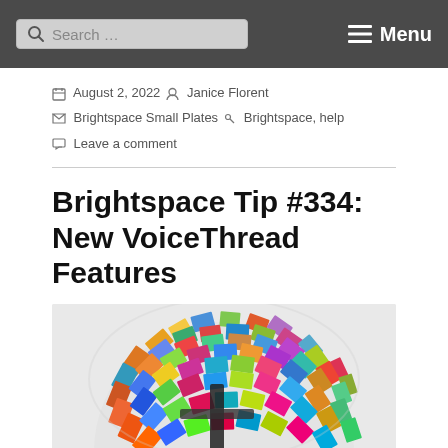Search ... ☰ Menu
August 2, 2022  Janice Florent  Brightspace Small Plates  Brightspace, help  Leave a comment
Brightspace Tip #334: New VoiceThread Features
[Figure (photo): A globe made of many overlapping photos arranged in a spherical shape, with a dark cross/tripod structure visible in the center foreground.]